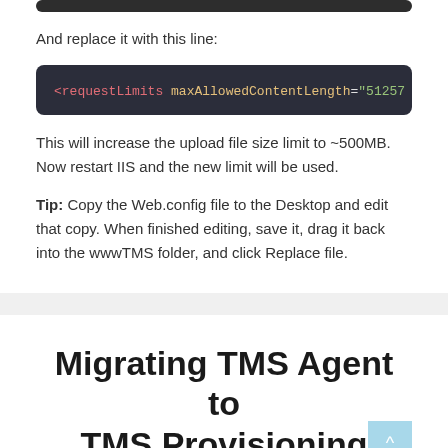And replace it with this line:
<requestLimits maxAllowedContentLength="51257...
This will increase the upload file size limit to ~500MB. Now restart IIS and the new limit will be used.
Tip: Copy the Web.config file to the Desktop and edit that copy. When finished editing, save it, drag it back into the wwwTMS folder, and click Replace file.
Migrating TMS Agent to TMS Provisioning